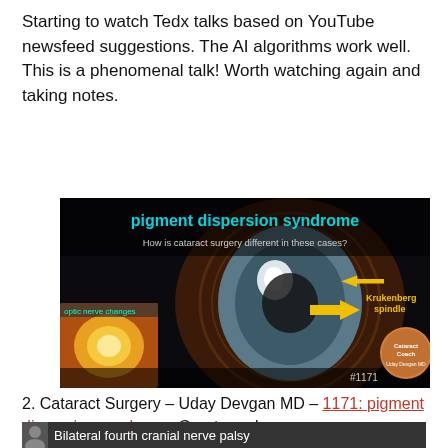Starting to watch Tedx talks based on YouTube newsfeed suggestions. The AI algorithms work well. This is a phenomenal talk! Worth watching again and taking notes.
[Figure (screenshot): Medical video thumbnail showing 'pigment dispersion syndrome – How is cataract surgery different in these cases?' with a close-up of an eye showing Krukenberg spindle, an inset of optic nerve changes, and the Cataract Coach logo (#1171, Uday Devgan MD).]
2. Cataract Surgery – Uday Devgan MD – 1171: pigment dispersion syndrome. Great pearls.
[Figure (screenshot): Thumbnail of another video showing a presenter and partial text 'Bilateral fourth cranial nerve palsy']